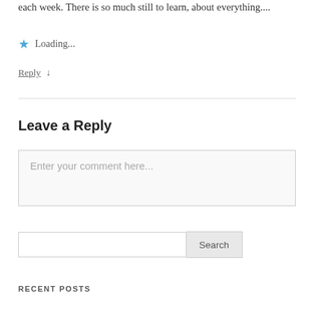each week. There is so much still to learn, about everything....
★ Loading...
Reply ↓
Leave a Reply
Enter your comment here...
Search
RECENT POSTS